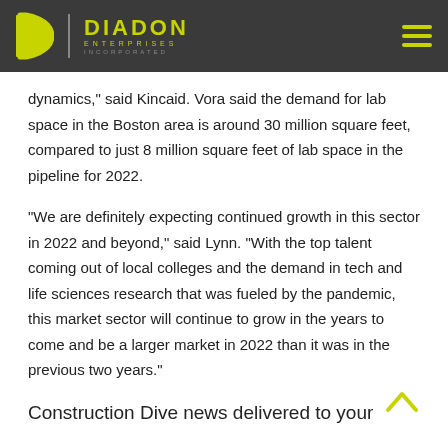Diadon Enterprises Incorporated
dynamics," said Kincaid. Vora said the demand for lab space in the Boston area is around 30 million square feet, compared to just 8 million square feet of lab space in the pipeline for 2022.
"We are definitely expecting continued growth in this sector in 2022 and beyond," said Lynn. "With the top talent coming out of local colleges and the demand in tech and life sciences research that was fueled by the pandemic, this market sector will continue to grow in the years to come and be a larger market in 2022 than it was in the previous two years."
Construction Dive news delivered to your